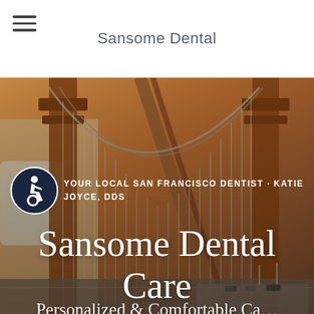Sansome Dental
[Figure (photo): Golden Gate Bridge photograph used as hero background image with warm orange/amber tones, showing bridge cables and towers]
YOUR LOCAL SAN FRANCISCO DENTIST - KATIE JOYCE, DDS
Sansome Dental Care
Personalized & Comfortable Ca...